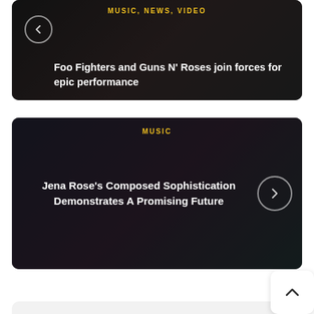[Figure (screenshot): Dark card with back arrow button, category tag MUSIC, NEWS, VIDEO in yellow, headline text 'Foo Fighters and Guns N' Roses join forces for epic performance' in white]
[Figure (screenshot): Dark card with MUSIC category tag in yellow, headline 'Jena Rose's Composed Sophistication Demonstrates A Promising Future' in white, forward arrow button on right]
[Figure (photo): Light grey card with circular portrait photo of a young Asian woman with shoulder-length dark hair wearing an orange top, smiling slightly]